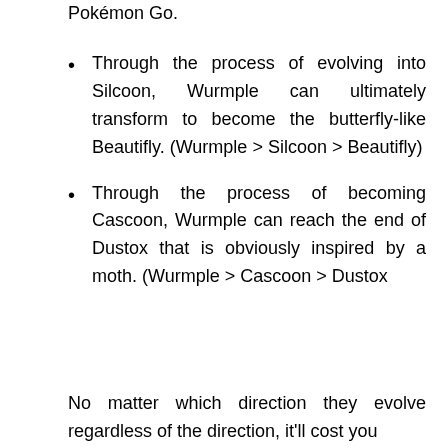Pokémon Go.
Through the process of evolving into Silcoon, Wurmple can ultimately transform to become the butterfly-like Beautifly. (Wurmple > Silcoon > Beautifly)
Through the process of becoming Cascoon, Wurmple can reach the end of Dustox that is obviously inspired by a moth. (Wurmple > Cascoon > Dustox
No matter which direction they evolve regardless of the direction, it'll cost you